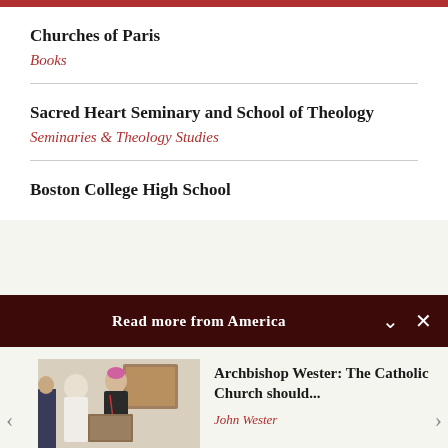Churches of Paris
Books
Sacred Heart Seminary and School of Theology
Seminaries & Theology Studies
Boston College High School
Read more from America
[Figure (photo): Photo of Pope Francis and Archbishop Wester examining a document together at the Vatican]
Archbishop Wester: The Catholic Church should...
John Wester